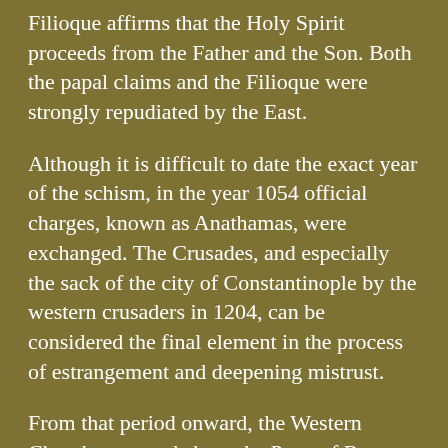Filioque affirms that the Holy Spirit proceeds from the Father and the Son. Both the papal claims and the Filioque were strongly repudiated by the East.
Although it is difficult to date the exact year of the schism, in the year 1054 official charges, known as Anathamas, were exchanged. The Crusades, and especially the sack of the city of Constantinople by the western crusaders in 1204, can be considered the final element in the process of estrangement and deepening mistrust.
From that period onward, the Western Church, centered about the Pope of Rome, and the Eastern Church, centered about the Patriarch of Constantinople, went their separate ways. Although there were attempts to restore...